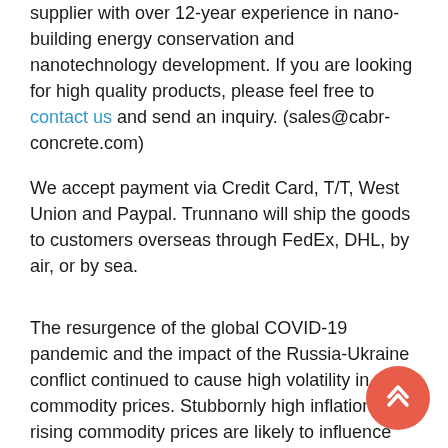supplier with over 12-year experience in nano-building energy conservation and nanotechnology development. If you are looking for high quality products, please feel free to contact us and send an inquiry. (sales@cabr-concrete.com)
We accept payment via Credit Card, T/T, West Union and Paypal. Trunnano will ship the goods to customers overseas through FedEx, DHL, by air, or by sea.
The resurgence of the global COVID-19 pandemic and the impact of the Russia-Ukraine conflict continued to cause high volatility in commodity prices. Stubbornly high inflation and rising commodity prices are likely to influence each other and thus push each other higher. The price of the Cellular Concrete Foaming Agents may not decrease significantly in the short term.